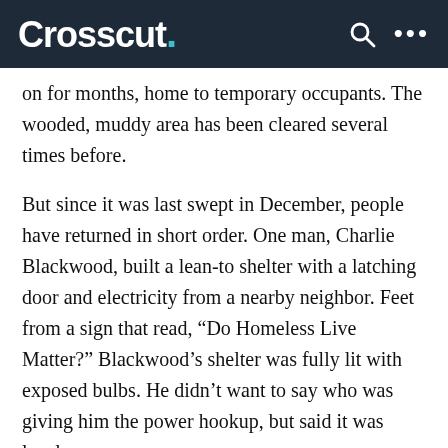Crosscut.
on for months, home to temporary occupants. The wooded, muddy area has been cleared several times before.
But since it was last swept in December, people have returned in short order. One man, Charlie Blackwood, built a lean-to shelter with a latching door and electricity from a nearby neighbor. Feet from a sign that read, “Do Homeless Live Matter?” Blackwood’s shelter was fully lit with exposed bulbs. He didn’t want to say who was giving him the power hookup, but said it was legal.